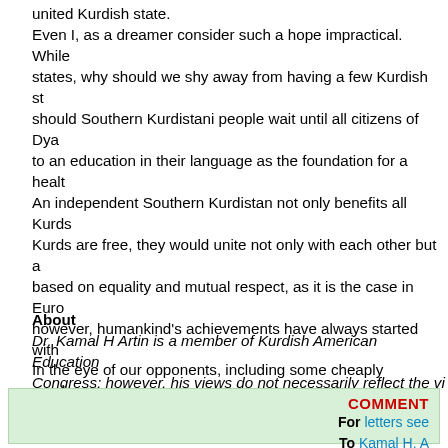united Kurdish state. Even I, as a dreamer consider such a hope impractical. While states, why should we shy away from having a few Kurdish st should Southern Kurdistani people wait until all citizens of Dya to an education in their language as the foundation for a healt An independent Southern Kurdistan not only benefits all Kurds Kurds are free, they would unite not only with each other but a based on equality and mutual respect, as it is the case in Euro however, humankind's achievements have always started with In the eye of our opponents, including some cheaply purchase had described Kurdish hope an illusion, KNC activists might b in a dreamless sleep for not seeing their destiny will be the sa all of those who opposed freedom and equality. I believe indep obstacles. I am confident once independent, Kurds will open their arms e Newday. For now they might only wish a happy Newroz to tho
About
Dr. Kamal H Artin is a member of Kurdish American Education Congress; however, his views do not necessarily reflect the vi website: www.art-in-mind.net
COMMENTS For letters see To Kamal H. A